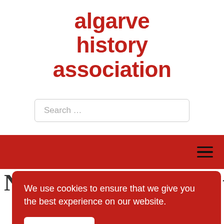algarve history association
Search ...
[Figure (other): Red navigation bar with hamburger menu icon (three horizontal lines) on the right side]
We use cookies to ensure that we give you the best experience on our website.
I accept